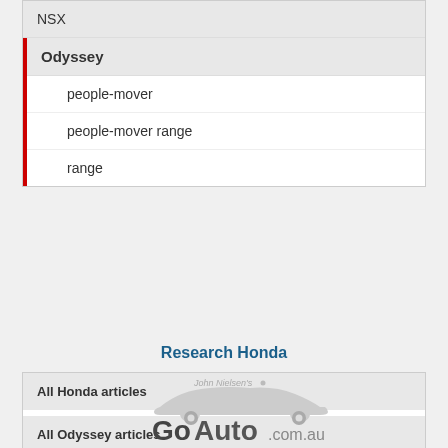NSX
Odyssey
people-mover
people-mover range
range
Research Honda
All Honda articles
All Odyssey articles
[Figure (logo): GoAuto.com.au logo with stylized car silhouette and 'John Nielsen's' text]